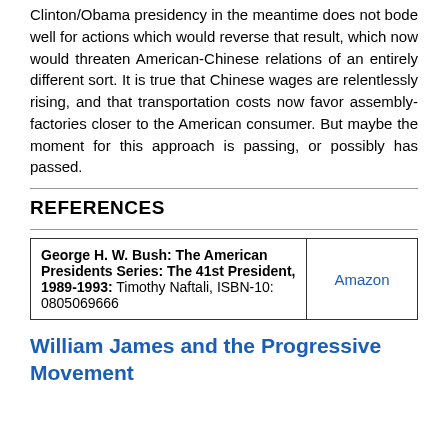Clinton/Obama presidency in the meantime does not bode well for actions which would reverse that result, which now would threaten American-Chinese relations of an entirely different sort. It is true that Chinese wages are relentlessly rising, and that transportation costs now favor assembly-factories closer to the American consumer. But maybe the moment for this approach is passing, or possibly has passed.
REFERENCES
| George H. W. Bush: The American Presidents Series: The 41st President, 1989-1993: Timothy Naftali, ISBN-10: 0805069666 | Amazon |
William James and the Progressive Movement